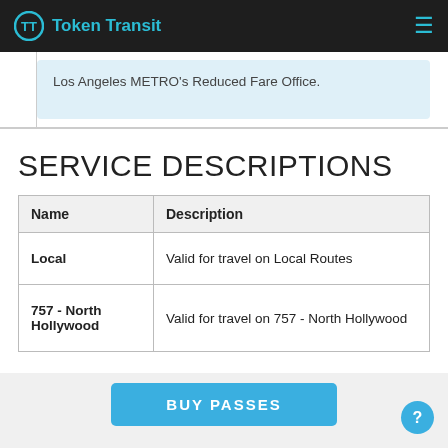Token Transit
Los Angeles METRO's Reduced Fare Office.
SERVICE DESCRIPTIONS
| Name | Description |
| --- | --- |
| Local | Valid for travel on Local Routes |
| 757 - North Hollywood | Valid for travel on 757 - North Hollywood |
BUY PASSES